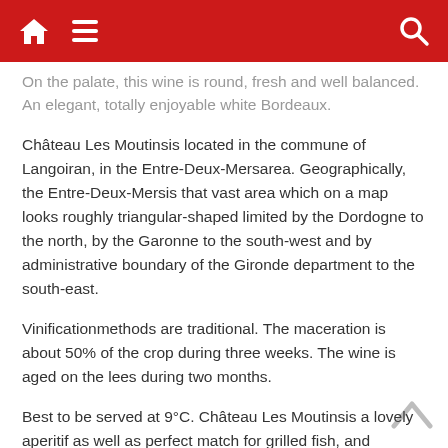Navigation bar with home, menu, and search icons
On the palate, this wine is round, fresh and well balanced. An elegant, totally enjoyable white Bordeaux.
Château Les Moutinsis located in the commune of Langoiran, in the Entre-Deux-Mersarea. Geographically, the Entre-Deux-Mersis that vast area which on a map looks roughly triangular-shaped limited by the Dordogne to the north, by the Garonne to the south-west and by administrative boundary of the Gironde department to the south-east.
Vinificationmethods are traditional. The maceration is about 50% of the crop during three weeks. The wine is aged on the lees during two months.
Best to be served at 9°C. Château Les Moutinsis a lovely aperitif as well as perfect match for grilled fish, and shellfish.